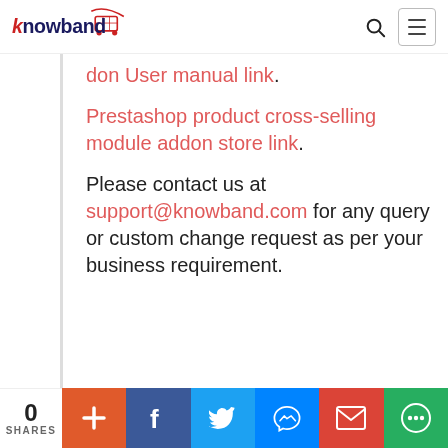[Figure (logo): Knowband logo with shopping cart icon in red and dark blue text]
don User manual link.
Prestashop product cross-selling module addon store link.
Please contact us at support@knowband.com for any query or custom change request as per your business requirement.